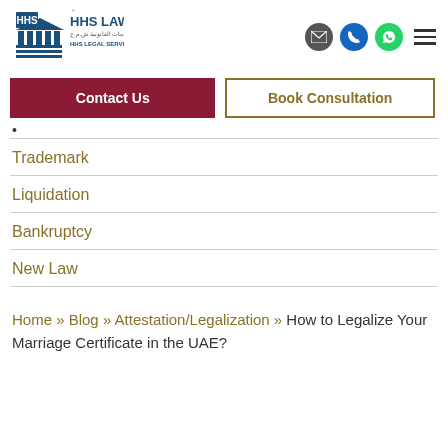[Figure (logo): HHS Lawyers logo with building/pillar icon and text 'HHS LAWYERS', Arabic text, 'HHS LEGAL SERVICES F.Z.C']
Contact Us
Book Consultation
Trademark
Liquidation
Bankruptcy
New Law
Home » Blog » Attestation/Legalization » How to Legalize Your Marriage Certificate in the UAE?